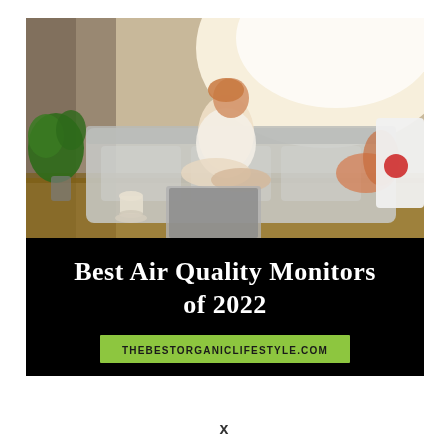[Figure (photo): A woman sitting cross-legged on a light grey couch in a sunlit living room, tilting her head back with eyes closed. A green potted plant is visible on the left, a laptop and coffee cup sit on a wooden table in front of the couch. A white air purifier with a red circle is partially visible on the right side of the couch.]
Best Air Quality Monitors of 2022
THEBESTORGANICLIFESTYLE.COM